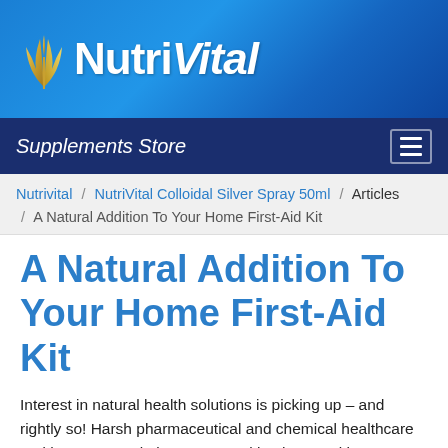[Figure (logo): NutriVital logo with golden plant/wheat graphic and white bold text 'NutriVital' on blue gradient background]
Supplements Store
Nutrivital / NutriVital Colloidal Silver Spray 50ml / Articles / A Natural Addition To Your Home First-Aid Kit
A Natural Addition To Your Home First-Aid Kit
Interest in natural health solutions is picking up – and rightly so! Harsh pharmaceutical and chemical healthcare and homecare solutions are wreaking havoc with our health, and are especially hazardous to the sensitive (and adaptive…) systems of our children.